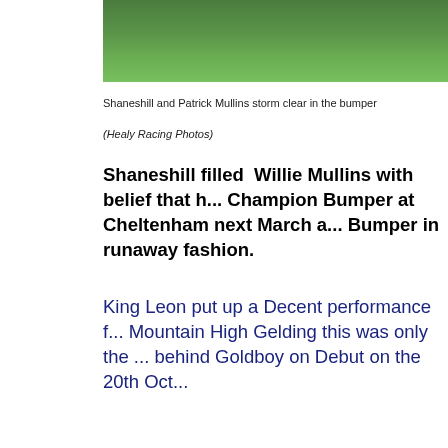[Figure (photo): A cropped photo showing green grass at the top of the page, partially cut off.]
Shaneshill and Patrick Mullins storm clear in the bumper
(Healy Racing Photos)
Shaneshill filled  Willie Mullins with belief that h... Champion Bumper at Cheltenham next March a... Bumper in runaway fashion.
King Leon put up a Decent performance f... Mountain High Gelding this was only the ... behind Goldboy on Debut on the 20th Oct...